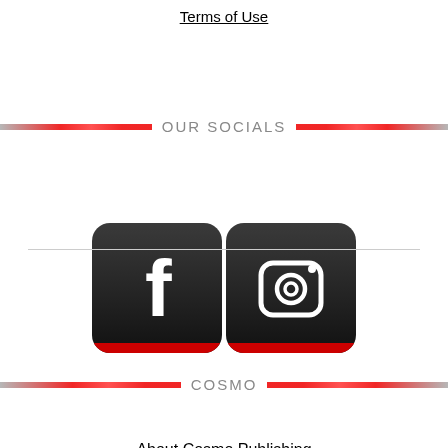Terms of Use
OUR SOCIALS
[Figure (logo): Facebook and Instagram social media icons side by side with red bottom bar accent]
COSMO
About Cosmo Publishing
Contact Us